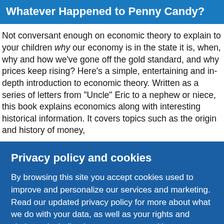Whatever Happened to Penny Candy?
Not conversant enough on economic theory to explain to your children why our economy is in the state it is, when, why and how we've gone off the gold standard, and why prices keep rising? Here's a simple, entertaining and in-depth introduction to economic theory. Written as a series of letters from "Uncle" Eric to a nephew or niece, this book explains economics along with interesting historical information. It covers topics such as the origin and history of money,
Privacy policy and cookies
By browsing this site you accept cookies used to improve and personalize our services and marketing.
Read our updated privacy policy for more about what we do with your data, as well as your rights and choices - including how to manage cookies.
Accept & close